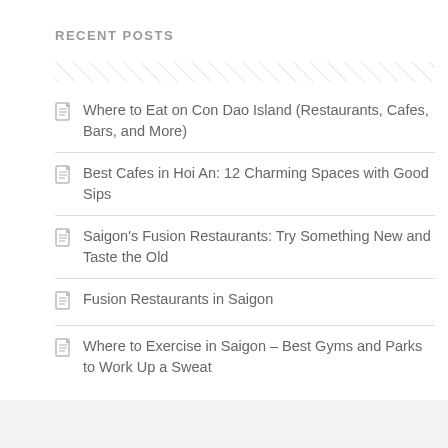RECENT POSTS
Where to Eat on Con Dao Island (Restaurants, Cafes, Bars, and More)
Best Cafes in Hoi An: 12 Charming Spaces with Good Sips
Saigon's Fusion Restaurants: Try Something New and Taste the Old
Fusion Restaurants in Saigon
Where to Exercise in Saigon – Best Gyms and Parks to Work Up a Sweat